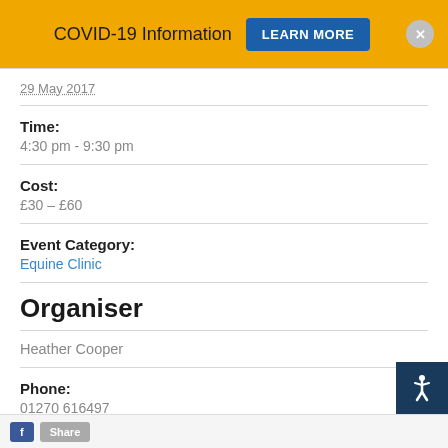COVID-19 Information  LEARN MORE
29 May 2017
Time:
4:30 pm - 9:30 pm
Cost:
£30 – £60
Event Category:
Equine Clinic
Organiser
Heather Cooper
Phone:
01270 616497
Email:
heather.cooper@reaseheath.ac.uk